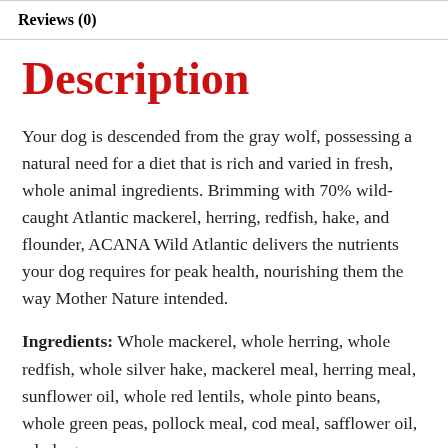Reviews (0)
Description
Your dog is descended from the gray wolf, possessing a natural need for a diet that is rich and varied in fresh, whole animal ingredients. Brimming with 70% wild-caught Atlantic mackerel, herring, redfish, hake, and flounder, ACANA Wild Atlantic delivers the nutrients your dog requires for peak health, nourishing them the way Mother Nature intended.
Ingredients: Whole mackerel, whole herring, whole redfish, whole silver hake, mackerel meal, herring meal, sunflower oil, whole red lentils, whole pinto beans, whole green peas, pollock meal, cod meal, safflower oil, whole green